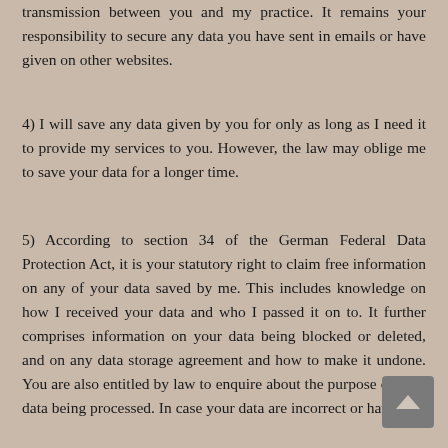transmission between you and my practice. It remains your responsibility to secure any data you have sent in emails or have given on other websites.
4) I will save any data given by you for only as long as I need it to provide my services to you. However, the law may oblige me to save your data for a longer time.
5) According to section 34 of the German Federal Data Protection Act, it is your statutory right to claim free information on any of your data saved by me. This includes knowledge on how I received your data and who I passed it on to. It further comprises information on your data being blocked or deleted, and on any data storage agreement and how to make it undone. You are also entitled by law to enquire about the purpose of your data being processed. In case your data are incorrect or have